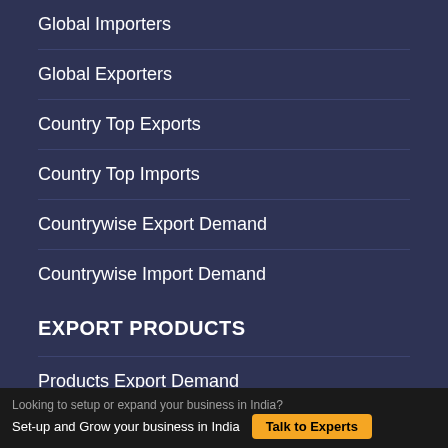Global Importers
Global Exporters
Country Top Exports
Country Top Imports
Countrywise Export Demand
Countrywise Import Demand
EXPORT PRODUCTS
Products Export Demand
Products Import Demand
Looking to setup or expand your business in India? Set-up and Grow your business in India Talk to Experts